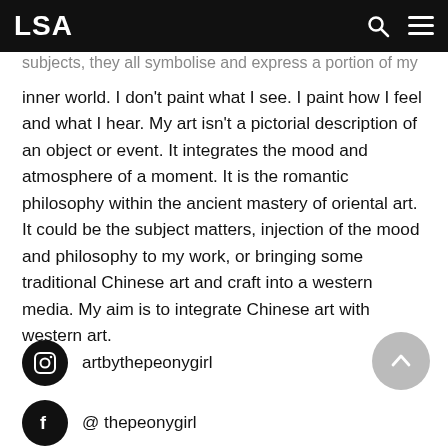LSA
subjects, they all symbolise and express a portion of my inner world. I don't paint what I see. I paint how I feel and what I hear. My art isn't a pictorial description of an object or event. It integrates the mood and atmosphere of a moment. It is the romantic philosophy within the ancient mastery of oriental art. It could be the subject matters, injection of the mood and philosophy to my work, or bringing some traditional Chinese art and craft into a western media. My aim is to integrate Chinese art with western art.
artbythepeonygirl
@ thepeonygirl